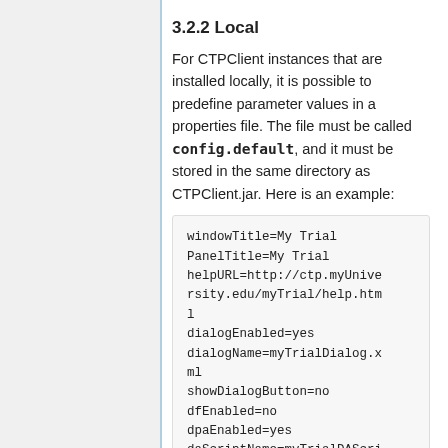3.2.2 Local
For CTPClient instances that are installed locally, it is possible to predefine parameter values in a properties file. The file must be called config.default, and it must be stored in the same directory as CTPClient.jar. Here is an example:
windowTitle=My Trial
PanelTitle=My Trial
helpURL=http://ctp.myUniversity.edu/myTrial/help.html
dialogEnabled=yes
dialogName=myTrialDialog.xml
showDialogButton=no
dfEnabled=no
dpaEnabled=yes
daScriptName=myTrialDAScript.script